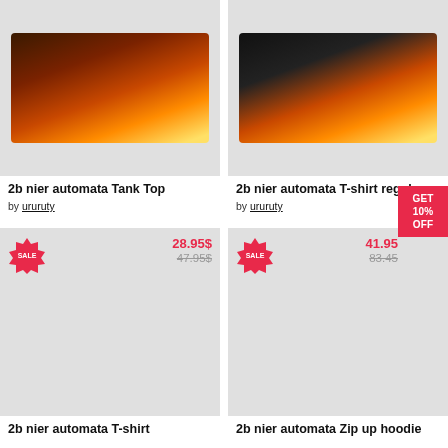[Figure (photo): 2b nier automata Tank Top product image with fire artwork]
2b nier automata Tank Top
by ururuty
[Figure (photo): 2b nier automata T-shirt regular product image with fire artwork on black shirt]
2b nier automata T-shirt regular
by ururuty
[Figure (photo): 2b nier automata T-shirt product image, SALE badge, price 28.95$ / 47.95$]
28.95$
47.95$
2b nier automata T-shirt
[Figure (photo): 2b nier automata Zip up hoodie product image, SALE badge, price 41.95 / 83.45]
41.95
83.45
2b nier automata Zip up hoodie
GET 10% OFF